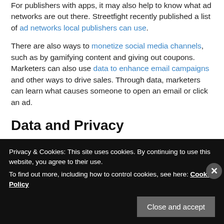For publishers with apps, it may also help to know what ad networks are out there. Streetfight recently published a list of ad networks local publishers can use.
There are also ways to monetize social media channels, such as by gamifying content and giving out coupons. Marketers can also use data to enhance email campaigns and other ways to drive sales. Through data, marketers can learn what causes someone to open an email or click an ad.
Data and Privacy
Privacy & Cookies: This site uses cookies. By continuing to use this website, you agree to their use. To find out more, including how to control cookies, see here: Cookie Policy